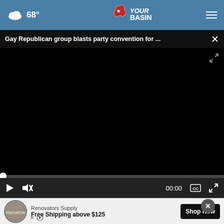68° YourBasin
Gay Republican group blasts party convention for ...
[Figure (screenshot): Black video player with progress bar showing 00:00, play button, mute button, captions button, and fullscreen button on dark controls bar]
[Figure (photo): Partial image of food items on wooden surface visible below video player]
Renovators Supply
Free Shipping above $125
Shop Now